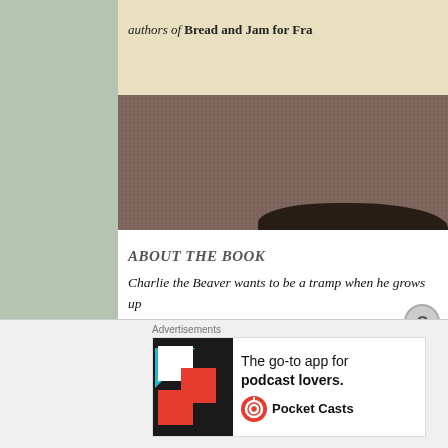[Figure (photo): Photograph of a book cover on a carpet/textured surface. The visible book cover is cream/yellow colored showing text 'authors of Bread and Jam for Fra...' in italic serif font. The background is a brown textured carpet. A dark shadow is visible in the upper portion.]
ABOUT THE BOOK
Charlie the Beaver wants to be a tramp when he grows up don't have to learn how to chop down trees and how to r to build dams. Tramps just tramp around and have a goo carry sticks with little bundles tied to them. They sleep i the weather is nice, and when it rains they sleep in a...
[Figure (advertisement): Advertisement for Pocket Casts app. Shows colorful logo squares (white, teal, red), text 'The go-to app for podcast lovers.' with Pocket Casts logo and name.]